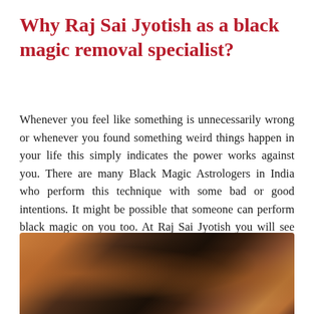Why Raj Sai Jyotish as a black magic removal specialist?
Whenever you feel like something is unnecessarily wrong or whenever you found something weird things happen in your life this simply indicates the power works against you. There are many Black Magic Astrologers in India who perform this technique with some bad or good intentions. It might be possible that someone can perform black magic on you too. At Raj Sai Jyotish you will see that we perform this techniques to bring peace and harmony in life.
[Figure (photo): Blurred photograph showing warm amber, dark brown, and orange tones, likely depicting religious or ritual objects related to astrology or black magic.]